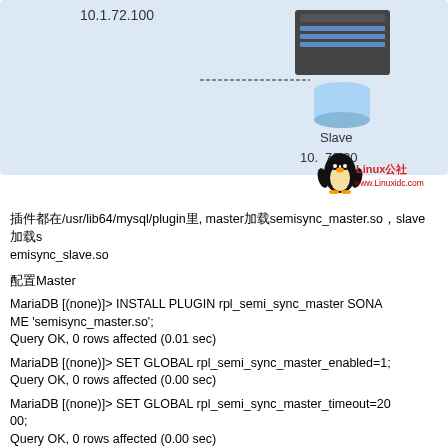[Figure (illustration): Network diagram showing a Slave server with IP 10.1.72.30, with a Linux Tux penguin logo and 'Linux公社 www.Linuxidc.com' watermark. The top-left shows partial IP 10.1.72.100.]
插件都在/usr/lib64/mysql/plugin里, master加载semisync_master.so，slave加载semisync_slave.so
配置Master
MariaDB [(none)]> INSTALL PLUGIN rpl_semi_sync_master SONAME 'semisync_master.so';
Query OK, 0 rows affected (0.01 sec)
MariaDB [(none)]> SET GLOBAL rpl_semi_sync_master_enabled=1;
Query OK, 0 rows affected (0.00 sec)
MariaDB [(none)]> SET GLOBAL rpl_semi_sync_master_timeout=2000;
Query OK, 0 rows affected (0.00 sec)